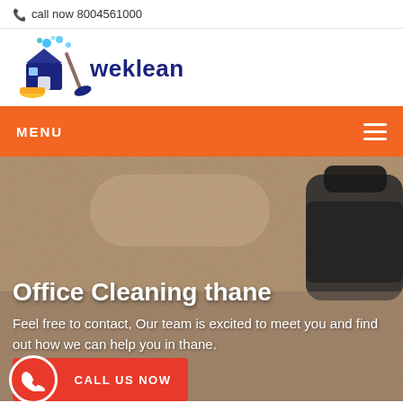call now 8004561000
[Figure (logo): WeKlean cleaning service logo with blue house, bubbles, broom and yellow dustpan]
MENU
Office Cleaning thane
Feel free to contact, Our team is excited to meet you and find out how we can help you in thane.
CALL US NOW